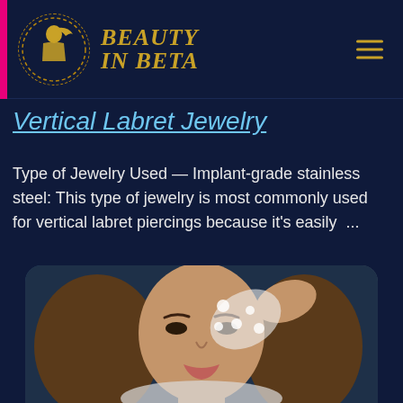[Figure (logo): Beauty In Beta website logo: circular dashed gold border with woman silhouette, gold italic text 'BEAUTY IN BETA' beside it, on dark navy background with pink left bar and gold hamburger menu icon top right]
Vertical Labret Jewelry
Type of Jewelry Used — Implant-grade stainless steel: This type of jewelry is most commonly used for vertical labret piercings because it's easily ...
[Figure (photo): Portrait photo of a woman with long brown wavy hair, dramatic makeup with smoky eyes, wearing a white sheer floral applique top, hand raised near forehead in a pose, against a dark background]